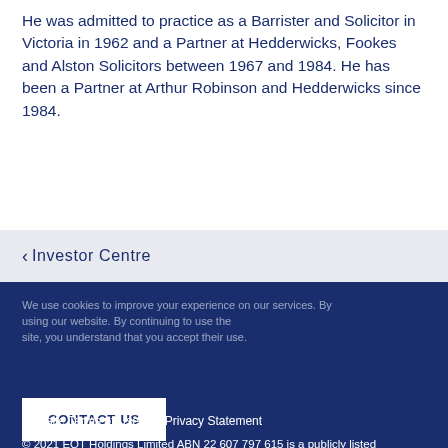He was admitted to practice as a Barrister and Solicitor in Victoria in 1962 and a Partner at Hedderwicks, Fookes and Alston Solicitors between 1967 and 1984. He has been a Partner at Arthur Robinson and Hedderwicks since 1984.
< Investor Centre
We use cookies to improve your experience on our services. By using our website. By continuing to use this site, you understand that you accept their use.
CONTACT US
Website Terms of Use  |  Privacy Statement
© 2021 EQT Holdings Limited ABN 22 607 797 615 is a publicly listed